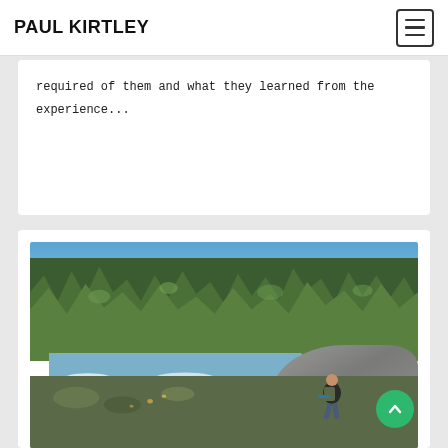PAUL KIRTLEY
required of them and what they learned from the experience...
[Figure (photo): Outdoor wilderness photo showing a person with a backpack sitting on rocks beside a fast-flowing river, surrounded by dense coniferous forest under a blue sky.]